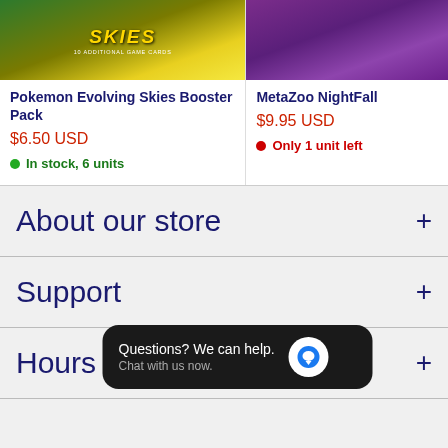[Figure (photo): Pokemon Evolving Skies Booster Pack product card with image at top]
Pokemon Evolving Skies Booster Pack
$6.50 USD
In stock, 6 units
[Figure (photo): MetaZoo NightFall product card with image at top]
MetaZoo NightFall
$9.95 USD
Only 1 unit left
About our store
Support
Hours
Questions? We can help. Chat with us now.